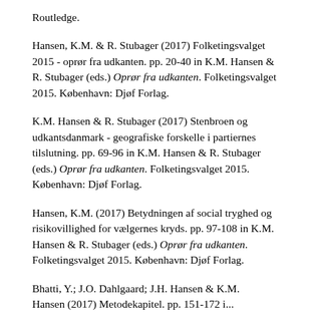Routledge.
Hansen, K.M. & R. Stubager (2017) Folketingsvalget 2015 - oprør fra udkanten. pp. 20-40 in K.M. Hansen & R. Stubager (eds.) Oprør fra udkanten. Folketingsvalget 2015. København: Djøf Forlag.
K.M. Hansen & R. Stubager (2017) Stenbroen og udkantsdanmark - geografiske forskelle i partiernes tilslutning. pp. 69-96 in K.M. Hansen & R. Stubager (eds.) Oprør fra udkanten. Folketingsvalget 2015. København: Djøf Forlag.
Hansen, K.M. (2017) Betydningen af social tryghed og risikovillighed for vælgernes kryds. pp. 97-108 in K.M. Hansen & R. Stubager (eds.) Oprør fra udkanten. Folketingsvalget 2015. København: Djøf Forlag.
Bhatti, Y.; J.O. Dahlgaard; J.H. Hansen & K.M. Hansen (2017) Metodekapitel. pp. 151-172 in ...